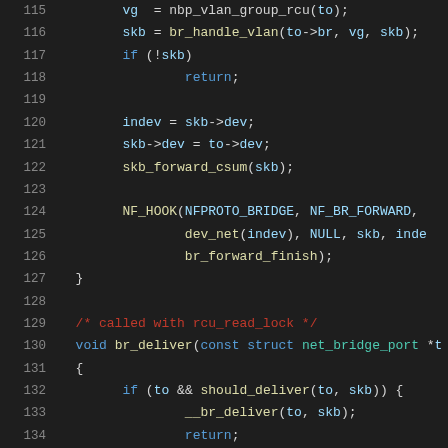[Figure (screenshot): Source code listing in a dark-themed code editor showing C kernel networking code, lines 115-136, with syntax highlighting. Functions include br_handle_vlan, br_deliver, and NF_HOOK calls.]